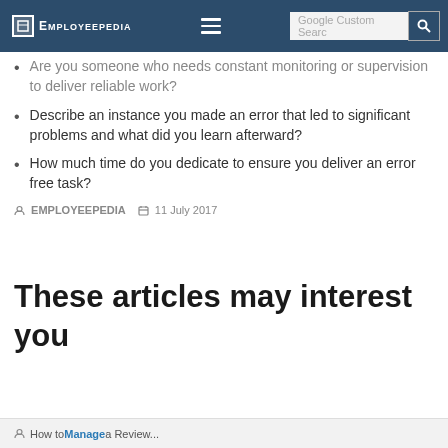EMPLOYEEPEDIA | Google Custom Search
Are you someone who needs constant monitoring or supervision to deliver reliable work?
Describe an instance you made an error that led to significant problems and what did you learn afterward?
How much time do you dedicate to ensure you deliver an error free task?
EMPLOYEEPEDIA   11 July 2017
These articles may interest you
How to Manage a Review...